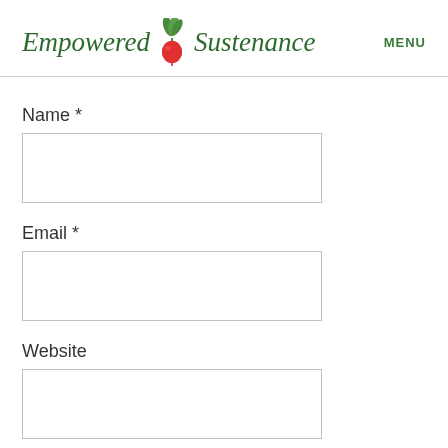[Figure (logo): Empowered Sustenance logo with radish illustration and italic green text]
MENU
Name *
Email *
Website